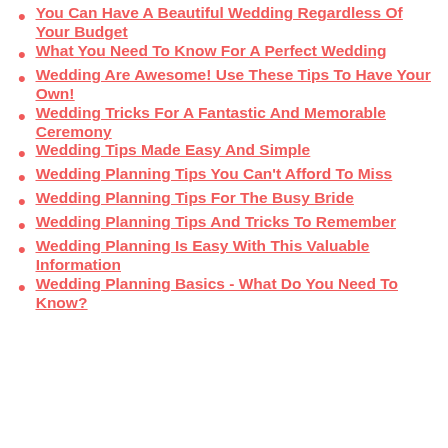You Can Have A Beautiful Wedding Regardless Of Your Budget
What You Need To Know For A Perfect Wedding
Wedding Are Awesome! Use These Tips To Have Your Own!
Wedding Tricks For A Fantastic And Memorable Ceremony
Wedding Tips Made Easy And Simple
Wedding Planning Tips You Can't Afford To Miss
Wedding Planning Tips For The Busy Bride
Wedding Planning Tips And Tricks To Remember
Wedding Planning Is Easy With This Valuable Information
Wedding Planning Basics - What Do You Need To Know?